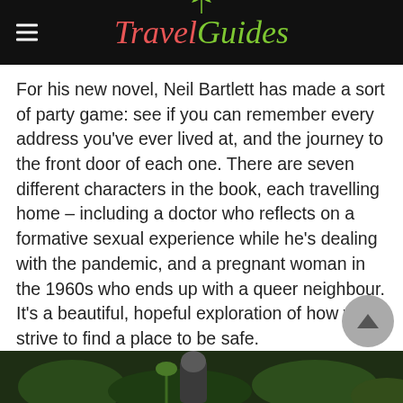TravelGuides
For his new novel, Neil Bartlett has made a sort of party game: see if you can remember every address you've ever lived at, and the journey to the front door of each one. There are seven different characters in the book, each travelling home – including a doctor who reflects on a formative sexual experience while he's dealing with the pandemic, and a pregnant woman in the 1960s who ends up with a queer neighbour. It's a beautiful, hopeful exploration of how we strive to find a place to be safe.
2. Nonfiction
The Body Keeps the Score by Bessel van der Kolk
[Figure (photo): Outdoor photo showing a person among green foliage and dark hedges, partially visible at the bottom of the page.]